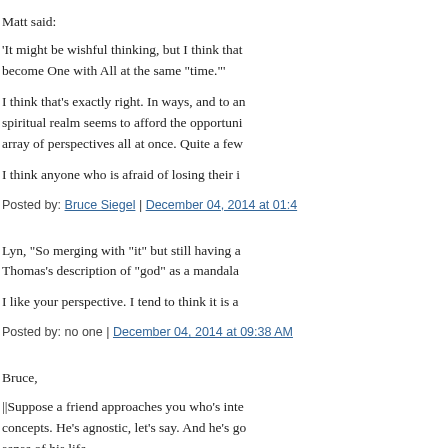Matt said:
'It might be wishful thinking, but I think that... become One with All at the same "time."'
I think that's exactly right. In ways, and to an... spiritual realm seems to afford the opportuni... array of perspectives all at once. Quite a few...
I think anyone who is afraid of losing their i...
Posted by: Bruce Siegel | December 04, 2014 at 01:4...
Lyn, "So merging with "it" but still having a... Thomas's description of "god" as a mandala...
I like your perspective. I tend to think it is a...
Posted by: no one | December 04, 2014 at 09:38 AM
Bruce,
||Suppose a friend approaches you who's inte... concepts. He's agnostic, let's say. And he's go... sense of his life.